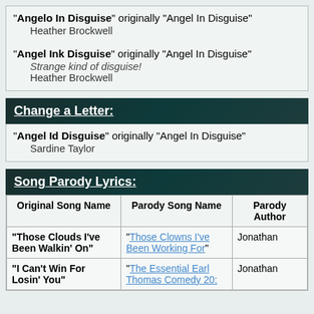"Angelo In Disguise" originally "Angel In Disguise" Heather Brockwell
"Angel Ink Disguise" originally "Angel In Disguise" Strange kind of disguise! Heather Brockwell
Change a Letter:
"Angel Id Disguise" originally "Angel In Disguise" Sardine Taylor
Song Parody Lyrics:
| Original Song Name | Parody Song Name | Parody Author |
| --- | --- | --- |
| "Those Clouds I've Been Walkin' On" | "Those Clowns I've Been Working For" | Jonathan |
| "I Can't Win For Losin' You" | "The Essential Earl Thomas Comedy 20: | Jonathan |